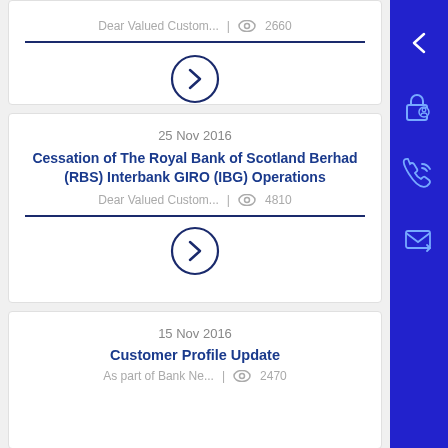Dear Valued Custom... | 2660
[Figure (other): Circular arrow right button icon (navy outline circle with right-pointing chevron)]
25 Nov 2016
Cessation of The Royal Bank of Scotland Berhad (RBS) Interbank GIRO (IBG) Operations
Dear Valued Custom... | 4810
[Figure (other): Circular arrow right button icon (navy outline circle with right-pointing chevron)]
15 Nov 2016
Customer Profile Update
As part of Bank Ne... | 2470